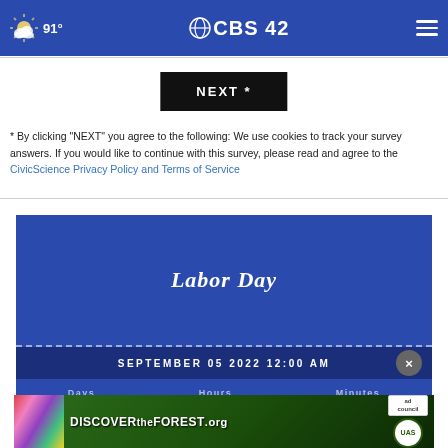91° CBS42
[Figure (screenshot): NEXT * button in black rectangle]
* By clicking "NEXT" you agree to the following: We use cookies to track your survey answers. If you would like to continue with this survey, please read and agree to the CivicScience Privacy Policy and Terms of Service
[Figure (infographic): Labor Day countdown widget with blue background showing 'Labor Day' title and 'SEPTEMBER 05 2022 12:00 AM' date, with close button and countdown labels Days, Hours, Minutes]
[Figure (infographic): DISCOVERtheFOREST.org advertisement banner with forest imagery, Ad Council and USDA Forest Service logos]